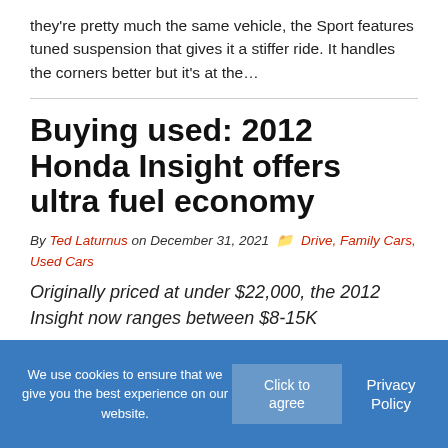they're pretty much the same vehicle, the Sport features tuned suspension that gives it a stiffer ride. It handles the corners better but it's at the…
Buying used: 2012 Honda Insight offers ultra fuel economy
By Ted Laturnus on December 31, 2021  Drive, Family Cars, Used Cars
Originally priced at under $22,000, the 2012 Insight now ranges between $8-15K
We use cookies to ensure that we give you the best experience on our website.  Click to agree  Privacy Policy